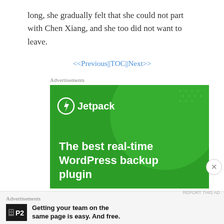long, she gradually felt that she could not part with Chen Xiang, and she too did not want to leave.
<<Previous||TOC||Next>>
Advertisements
[Figure (illustration): Jetpack advertisement banner on green background. Shows Jetpack logo (lightning bolt in circle) and text: 'The best real-time WordPress backup plugin']
Advertisements
[Figure (illustration): P2 advertisement. Logo shows 'P2' with a grid icon. Text reads: 'Getting your team on the same page is easy. And free.']